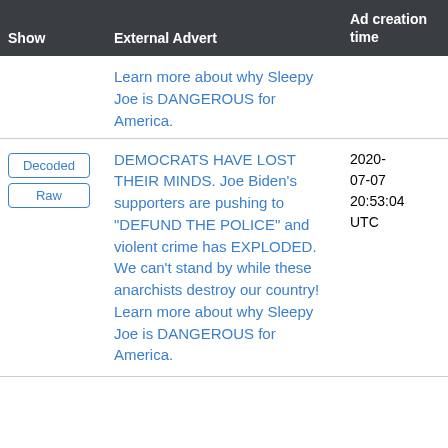| Show | External Advert | Ad creation time |
| --- | --- | --- |
|  | Learn more about why Sleepy Joe is DANGEROUS for America. |  |
| Decoded
Raw | DEMOCRATS HAVE LOST THEIR MINDS. Joe Biden's supporters are pushing to "DEFUND THE POLICE" and violent crime has EXPLODED. We can't stand by while these anarchists destroy our country! Learn more about why Sleepy Joe is DANGEROUS for America. | 2020-07-07 20:53:04 UTC |